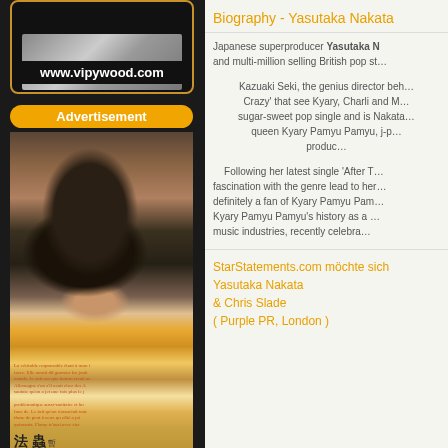[Figure (photo): Website logo/image area with www.vipywood.com text, dark background with decorative border]
www.vipywood.com
Advertisement
[Figure (photo): Black and white photo of a woman with dark hair smoking a cigarette, overlaid with Japanese text and colorful magazine clippings]
Biography - Yasutaka Nakata
Japanese superproducer Yasutaka N… and multi-million selling British pop st…
Kazuaki Seki, the genius director beh… Crazy' that see Kyary, Charli and M… sugar-sweet pop single and is Nakata… queen Kyary Pamyu Pamyu, j-p… produc…
Following her latest single 'After T… fascination with the genre lead to her… definitely a fan of Kyary Pamyu Pam… Kyary Pamyu Pamyu's history as a … music industries, recently celebra…
StarStatements.com möchte sich
Yasutaka Nakata
& Chris Slade
( Purple PR, London )